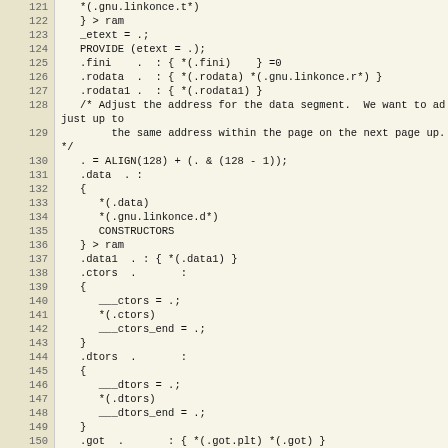Code listing lines 121-150 of a linker script
121    *(gnu.linkonce.t*)
122    } > ram
123    _etext = .;
124    PROVIDE (etext = .);
125    .fini    . : { *(.fini)    } =0
126    .rodata  . : { *(.rodata) *(.gnu.linkonce.r*) }
127    .rodata1 . : { *(.rodata1) }
128    /* Adjust the address for the data segment.  We want to adjust up to
129       the same address within the page on the next page up.  */
130    . = ALIGN(128) + (. & (128 - 1));
131    .data  . :
132    {
133       *(.data)
134       *(.gnu.linkonce.d*)
135       CONSTRUCTORS
136    } > ram
137    .data1  . : { *(.data1) }
138    .ctors  .      :
139    {
140       ___ctors = .;
141       *(.ctors)
142       ___ctors_end = .;
143    }
144    .dtors  .      :
145    {
146       ___dtors = .;
147       *(.dtors)
148       ___dtors_end = .;
149    }
150    .got  .      : { *(.got.plt) *(.got) }